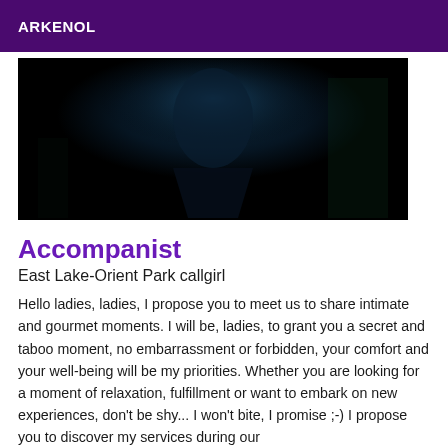ARKENOL
[Figure (photo): Dark, low-light photograph with deep navy and black tones, showing an obscure shadowy figure or shape against a very dark background with subtle blue-green highlights]
Accompanist
East Lake-Orient Park callgirl
Hello ladies, ladies, I propose you to meet us to share intimate and gourmet moments. I will be, ladies, to grant you a secret and taboo moment, no embarrassment or forbidden, your comfort and your well-being will be my priorities. Whether you are looking for a moment of relaxation, fulfillment or want to embark on new experiences, don't be shy... I won't bite, I promise ;-) I propose you to discover my services during our